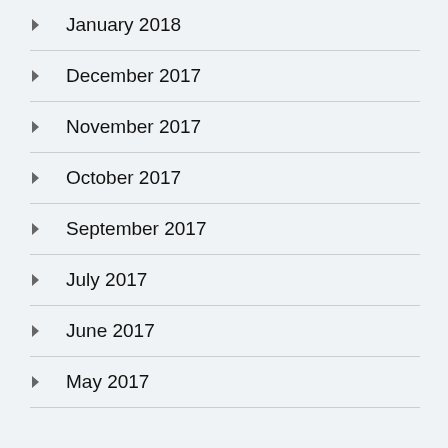January 2018
December 2017
November 2017
October 2017
September 2017
July 2017
June 2017
May 2017
Privacy & Cookies: This site uses cookies. By continuing to use this website, you agree to their use.
To find out more, including how to control cookies, see here: Cookie Policy
Close and accept
Advertisements